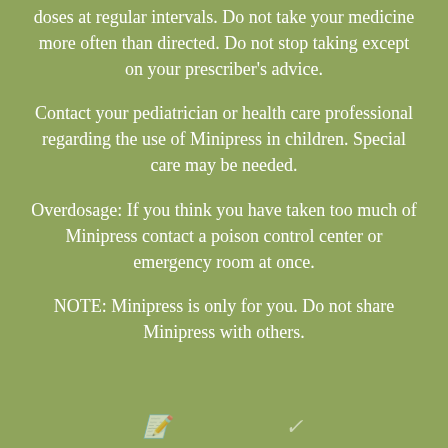doses at regular intervals. Do not take your medicine more often than directed. Do not stop taking except on your prescriber's advice.
Contact your pediatrician or health care professional regarding the use of Minipress in children. Special care may be needed.
Overdosage: If you think you have taken too much of Minipress contact a poison control center or emergency room at once.
NOTE: Minipress is only for you. Do not share Minipress with others.